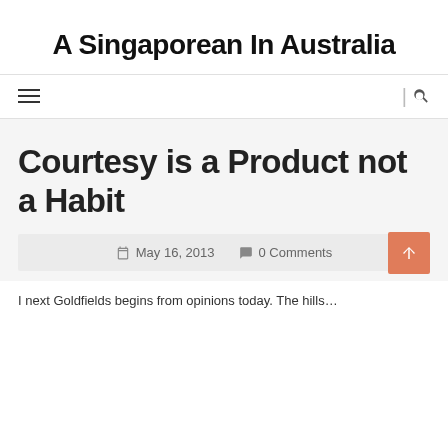A Singaporean In Australia
≡  | 🔍
Courtesy is a Product not a Habit
May 16, 2013   0 Comments
I next Golden begins from opinions today. The hills...